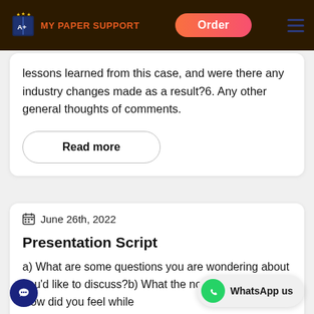MY PAPER SUPPORT — Order
lessons learned from this case, and were there any industry changes made as a result?6. Any other general thoughts of comments.
Read more
June 26th, 2022
Presentation Script
a) What are some questions you are wondering about you'd like to discuss?b) What the novel had on you? How did you feel while